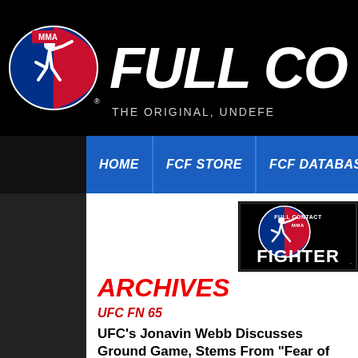[Figure (logo): MMA Full Contact Fighter website header with MMA logo (baseball-style figure kicking) and site name 'FULL CO...' with tagline 'THE ORIGINAL, UNDEFE...']
HOME | FCF STORE | FCF DATABASE | FCF RADIO | ...
[Figure (logo): Full Contact MMA Fighter small logo with baseball-style fighter silhouette]
ARCHIVES
UFC FN 65
UFC's Jonavin Webb Discusses Ground Game, Stems From "Fear of Judges"